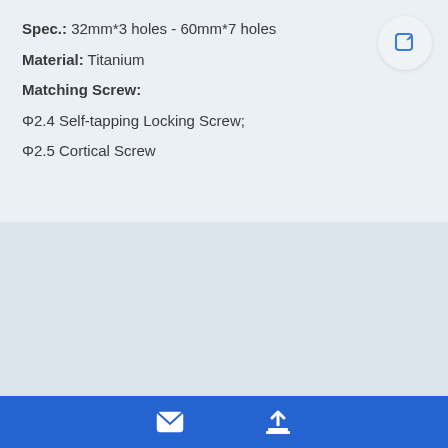Spec.: 32mm*3 holes - 60mm*7 holes
Material: Titanium
Matching Screw:
Φ2.4 Self-tapping Locking Screw;
Φ2.5 Cortical Screw
[Figure (illustration): Orthopedic bone plate illustration showing a blue titanium plate with screw holes along the top edge and a ring at the right end, displayed at the bottom of a white card panel. Below the card is a blue navigation bar with a mail icon and an upload/share icon.]